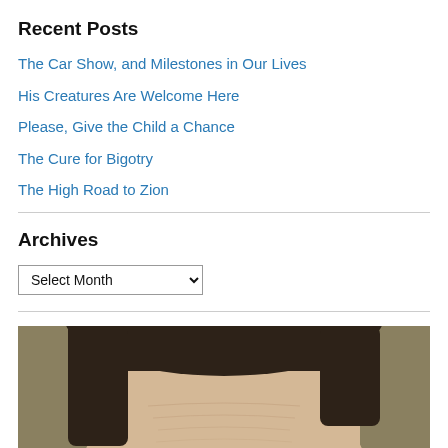Recent Posts
The Car Show, and Milestones in Our Lives
His Creatures Are Welcome Here
Please, Give the Child a Chance
The Cure for Bigotry
The High Road to Zion
Archives
Select Month
[Figure (photo): Close-up photo of an older person's face, showing forehead and eyes with glasses, olive/tan background]